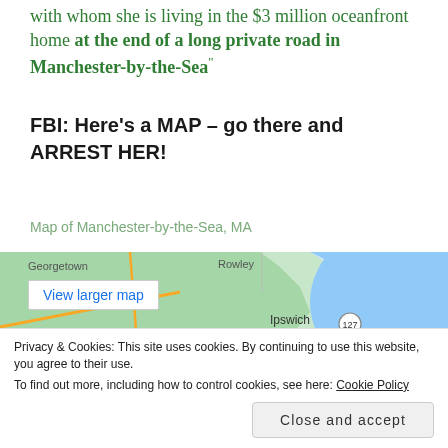with whom she is living in the $3 million oceanfront home at the end of a long private road in Manchester-by-the-Sea"
FBI: Here's a MAP – go there and ARREST HER!
Map of Manchester-by-the-Sea, MA
[Figure (map): Google Maps view showing Manchester-by-the-Sea, MA area with Georgetown, Rowley, Ipswich, and route 127 visible. Blue water on the right side.]
Privacy & Cookies: This site uses cookies. By continuing to use this website, you agree to their use.
To find out more, including how to control cookies, see here: Cookie Policy